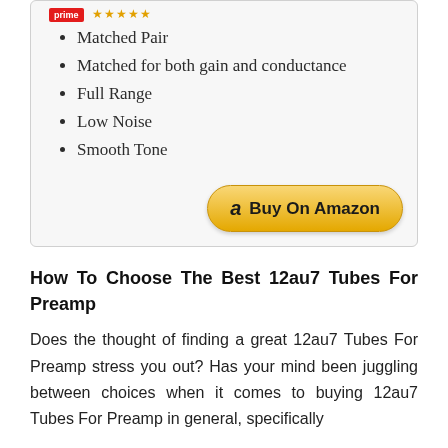Matched Pair
Matched for both gain and conductance
Full Range
Low Noise
Smooth Tone
[Figure (other): Buy On Amazon button with Amazon logo]
How To Choose The Best 12au7 Tubes For Preamp
Does the thought of finding a great 12au7 Tubes For Preamp stress you out? Has your mind been juggling between choices when it comes to buying 12au7 Tubes For Preamp in general, specifically